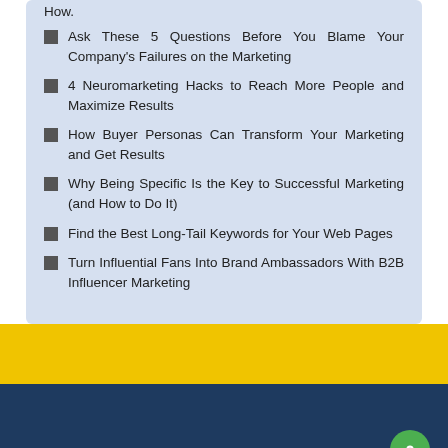How.
Ask These 5 Questions Before You Blame Your Company's Failures on the Marketing
4 Neuromarketing Hacks to Reach More People and Maximize Results
How Buyer Personas Can Transform Your Marketing and Get Results
Why Being Specific Is the Key to Successful Marketing (and How to Do It)
Find the Best Long-Tail Keywords for Your Web Pages
Turn Influential Fans Into Brand Ambassadors With B2B Influencer Marketing
[Figure (other): Yellow decorative bar followed by dark navy blue footer bar with green chat button in bottom right corner]